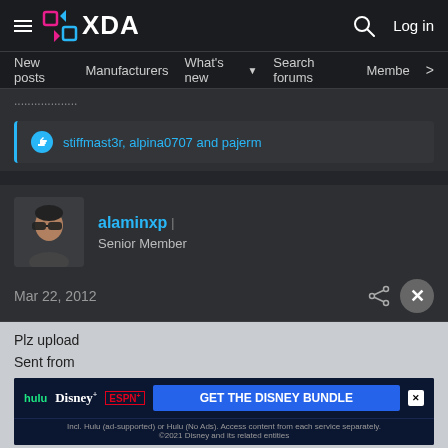XDA | Log in | New posts | Manufacturers | What's new | Search forums | Members
...........
stiffmast3r, alpina0707 and pajerm
alaminxp
Senior Member
Mar 22, 2012
Plz upload
Sent from
[Figure (screenshot): Advertisement banner for Disney Bundle featuring Hulu, Disney+, and ESPN+ logos with 'GET THE DISNEY BUNDLE' call to action button]